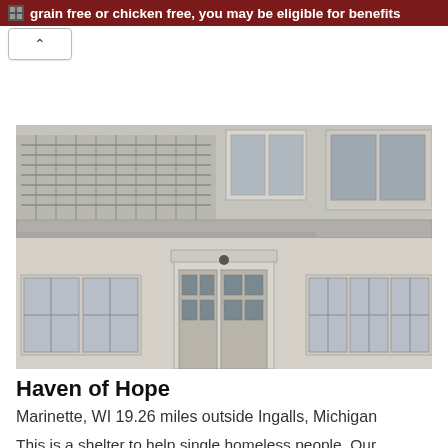grain free or chicken free, you may be eligible for benefits
[Figure (photo): Exterior photo of a multi-story white building with large windows, balcony railings, and a central entrance door — the Haven of Hope shelter.]
Haven of Hope
Marinette, WI 19.26 miles outside Ingalls, Michigan
This is a shelter to help single homeless people. Our mission is to reach out to people who are in need of a